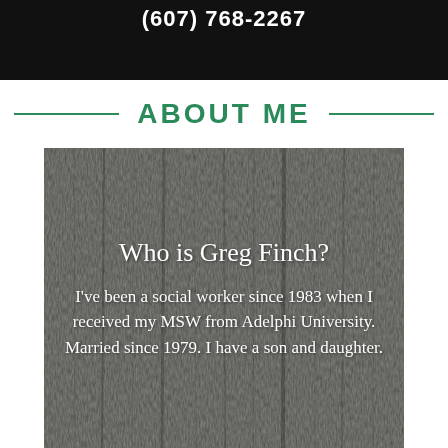(607) 768-2267
ABOUT ME
[Figure (photo): Dark tree bark texture background with white text overlay reading 'Who is Greg Finch?' and 'I've been a social worker since 1983 when I received my MSW from Adelphi University. Married since 1979. I have a son and daughter.']